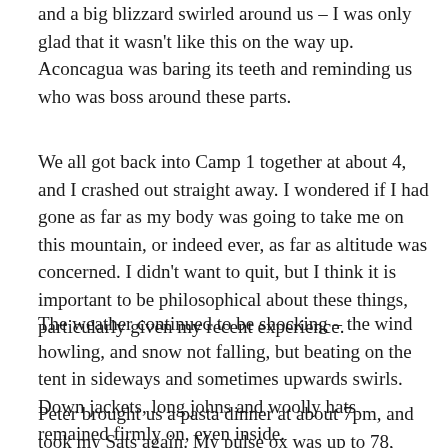and a big blizzard swirled around us – I was only glad that it wasn't like this on the way up. Aconcagua was baring its teeth and reminding us who was boss around these parts.
We all got back into Camp 1 together at about 4, and I crashed out straight away. I wondered if I had gone as far as my body was going to take me on this mountain, or indeed ever, as far as altitude was concerned. I didn't want to quit, but I think it is important to be philosophical about these things, particularly given my recent experience.
The weather continued to be shocking – the wind howling, and snow not falling, but beating on the tent in sideways and sometimes upwards swirls. Down jackets, long johns and woolly hats remained firmly on, even inside.
Peter brought us a pasta dinner at about 7pm, and took my Sats again. My pulse ox was up to 78, although I had a